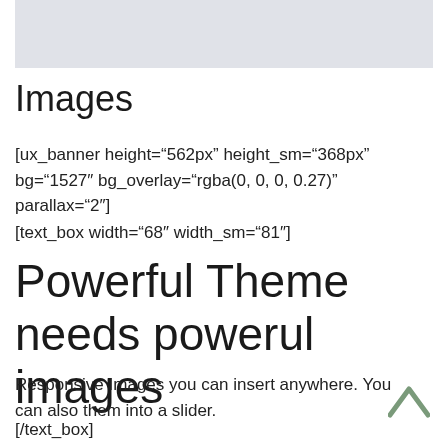[Figure (other): Gray rectangular placeholder image area at top of page]
Images
[ux_banner height="562px" height_sm="368px" bg="1527" bg_overlay="rgba(0, 0, 0, 0.27)" parallax="2"]
[text_box width="68" width_sm="81"]
Powerful Theme needs powerul images
Responsive Images you can insert anywhere. You can also them into a slider.
[/text_box]